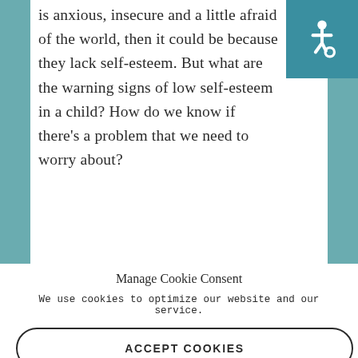is anxious, insecure and a little afraid of the world, then it could be because they lack self-esteem. But what are the warning signs of low self-esteem in a child? How do we know if there's a problem that we need to worry about?
[Figure (illustration): Teal square button with white wheelchair accessibility icon]
Manage Cookie Consent
We use cookies to optimize our website and our service.
ACCEPT COOKIES
DENY
VIEW PREFERENCES